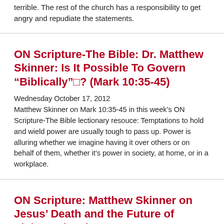terrible. The rest of the church has a responsibility to get angry and repudiate the statements.
ON Scripture-The Bible: Dr. Matthew Skinner: Is It Possible To Govern “Biblically”□? (Mark 10:35-45)
Wednesday October 17, 2012
Matthew Skinner on Mark 10:35-45 in this week’s ON Scripture-The Bible lectionary resouce: Temptations to hold and wield power are usually tough to pass up. Power is alluring whether we imagine having it over others or on behalf of them, whether it’s power in society, at home, or in a workplace.
ON Scripture: Matthew Skinner on Jesus’ Death and the Future of Violence (Mark 9:30-